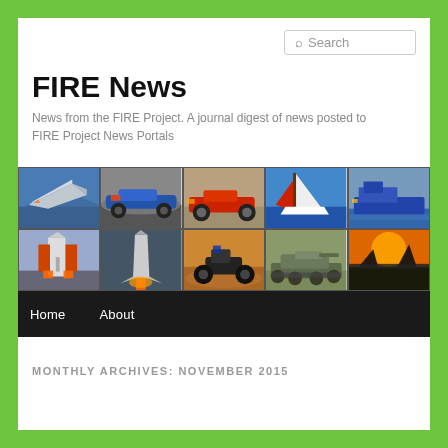FIRE News
News from the FIRE Project. A journal digest of news posted to FIRE Project News Portals
[Figure (photo): Grid of 10 photos showing military/transport vehicles: jet fighter, racing car, vintage race car, sailboat, ship, space shuttle, rocket launch, motorcycle, tank, and military equipment at sunset]
Home
About
MONTHLY ARCHIVES: NOVEMBER 2015